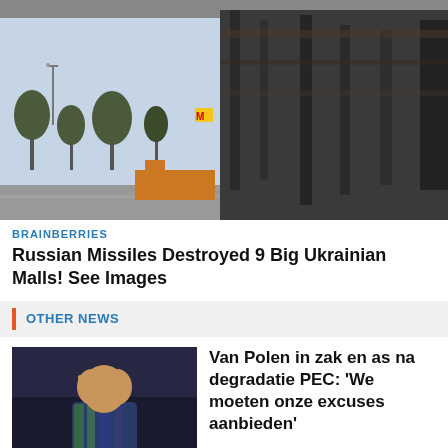[Figure (photo): Destroyed or damaged building with cars in background, McDonald's sign visible, overcast sky]
BRAINBERRIES
Russian Missiles Destroyed 9 Big Ukrainian Malls! See Images
OTHER NEWS
[Figure (photo): Football player covering face with hands in distress, wearing colorful jersey with VB logo]
Van Polen in zak en as na degradatie PEC: 'We moeten onze excuses aanbieden'
Bram van Polen zit er helemaal doorheen nu de degradatie van PEC Zwolle een voldongen feit is.